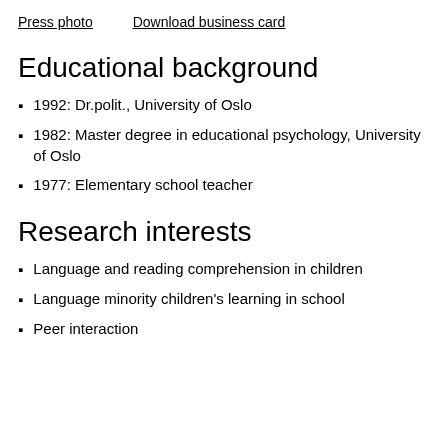Press photo    Download business card
Educational background
1992: Dr.polit., University of Oslo
1982: Master degree in educational psychology, University of Oslo
1977: Elementary school teacher
Research interests
Language and reading comprehension in children
Language minority children's learning in school
Peer interaction